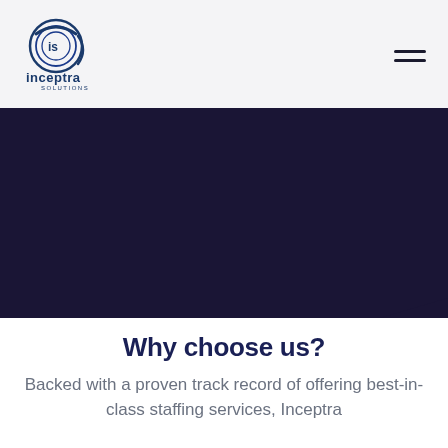[Figure (logo): Inceptra Solutions logo — circular swirl icon with 'is' letters inside, with company name 'inceptra' and 'SOLUTIONS' text below in dark navy blue]
Why choose us?
Backed with a proven track record of offering best-in-class staffing services, Inceptra